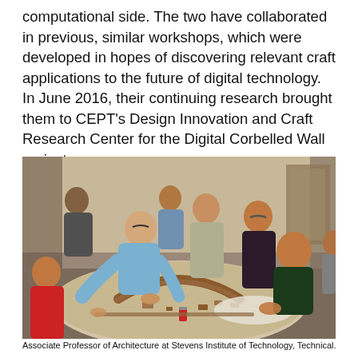computational side. The two have collaborated in previous, similar workshops, which were developed in hopes of discovering relevant craft applications to the future of digital technology. In June 2016, their continuing research brought them to CEPT's Design Innovation and Craft Research Center for the Digital Corbelled Wall project.
[Figure (photo): Group of people gathered around a table working on a physical model of a corbelled wall arch structure. One person leans over to assist others. Several participants stand and observe. The setting appears to be an indoor workshop room.]
Associate Professor of Architecture at Stevens Institute of Technology, Technical...